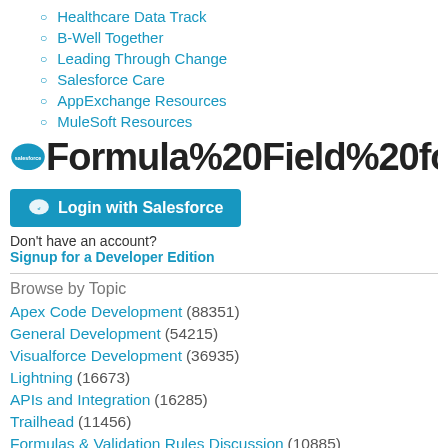Healthcare Data Track
B-Well Together
Leading Through Change
Salesforce Care
AppExchange Resources
MuleSoft Resources
Formula%20Field%20for%20Che
Login with Salesforce
Don't have an account?
Signup for a Developer Edition
Browse by Topic
Apex Code Development (88351)
General Development (54215)
Visualforce Development (36935)
Lightning (16673)
APIs and Integration (16285)
Trailhead (11456)
Formulas & Validation Rules Discussion (10885)
Other Salesforce Applications (7856)
Jobs Board (6626)
Force.com Sites & Site.com (4761)